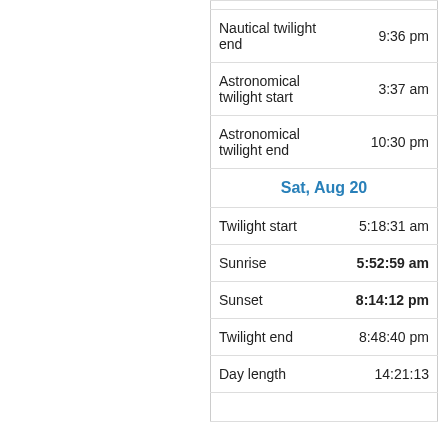| Event | Time |
| --- | --- |
| Nautical twilight end | 9:36 pm |
| Astronomical twilight start | 3:37 am |
| Astronomical twilight end | 10:30 pm |
| Sat, Aug 20 |  |
| Twilight start | 5:18:31 am |
| Sunrise | 5:52:59 am |
| Sunset | 8:14:12 pm |
| Twilight end | 8:48:40 pm |
| Day length | 14:21:13 |